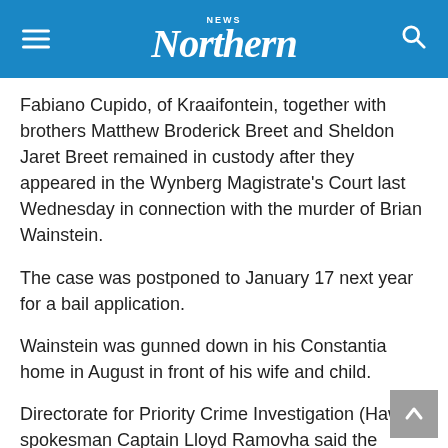Northern News
Fabiano Cupido, of Kraaifontein, together with brothers Matthew Broderick Breet and Sheldon Jaret Breet remained in custody after they appeared in the Wynberg Magistrate's Court last Wednesday in connection with the murder of Brian Wainstein.
The case was postponed to January 17 next year for a bail application.
Wainstein was gunned down in his Constantia home in August in front of his wife and child.
Directorate for Priority Crime Investigation (Hawks) spokesman Captain Lloyd Ramovha said the gunmen had